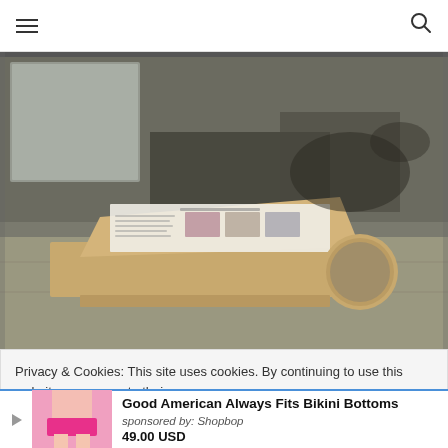Navigation bar with hamburger menu and search icon
[Figure (photo): Interior photo of a wooden display stand/kiosk with an angled reading surface holding what appears to be a brochure or informational panel. The stand is made of light wood with a circular cutout on the right side. The background shows deteriorated walls and large mirrors in an old or abandoned space.]
Privacy & Cookies: This site uses cookies. By continuing to use this website, you agree to their use.
To find out more, including how to control cookies, see here: Cookie
Good American Always Fits Bikini Bottoms
sponsored by: Shopbop
49.00 USD